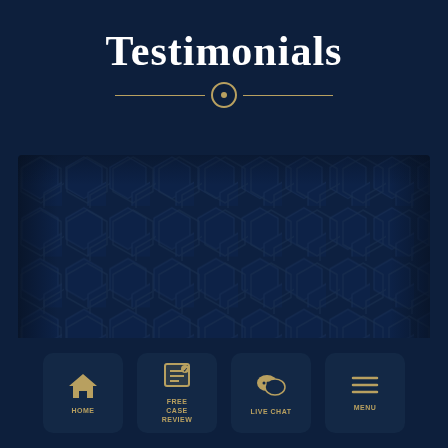Testimonials
[Figure (illustration): Honeycomb hexagonal pattern panel in dark navy blue tones forming a decorative background texture]
HOME | FREE CASE REVIEW | LIVE CHAT | MENU